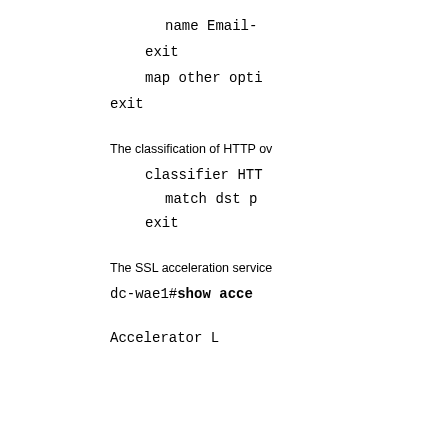name Email-
exit
map other opti
exit
The classification of HTTP ov
classifier HTT
match dst p
exit
The SSL acceleration service
dc-wae1#show acce
Accelerator   L